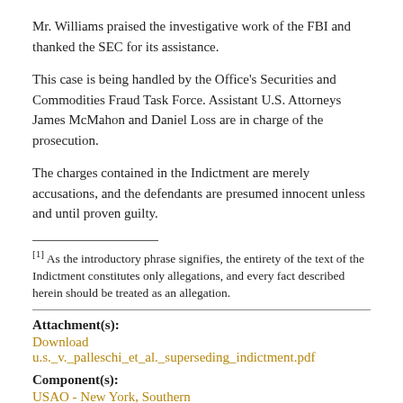Mr. Williams praised the investigative work of the FBI and thanked the SEC for its assistance.
This case is being handled by the Office's Securities and Commodities Fraud Task Force. Assistant U.S. Attorneys James McMahon and Daniel Loss are in charge of the prosecution.
The charges contained in the Indictment are merely accusations, and the defendants are presumed innocent unless and until proven guilty.
[1] As the introductory phrase signifies, the entirety of the text of the Indictment constitutes only allegations, and every fact described herein should be treated as an allegation.
Attachment(s):
Download u.s._v._palleschi_et_al._superseding_indictment.pdf
Component(s):
USAO - New York, Southern
Contact:
Nicholas Biase